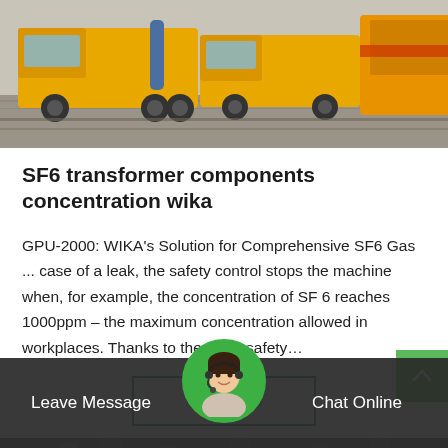[Figure (photo): Yellow industrial/utility trucks parked on a wet surface, viewed from the side in an outdoor setting.]
SF6 transformer components concentration wika
GPU-2000: WIKA's Solution for Comprehensive SF6 Gas ... case of a leak, the safety control stops the machine when, for example, the concentration of SF 6 reaches 1000ppm – the maximum concentration allowed in workplaces. Thanks to the SIL 2 safety…
Get Price
Leave Message
Chat Online